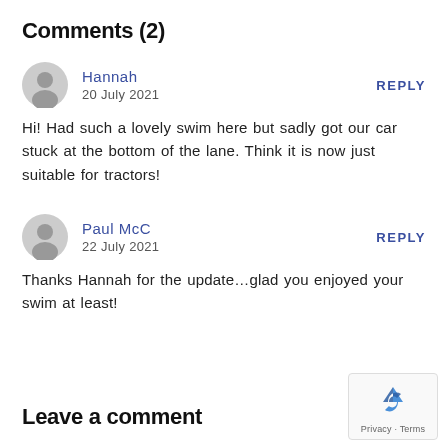Comments (2)
Hannah
20 July 2021
REPLY
Hi! Had such a lovely swim here but sadly got our car stuck at the bottom of the lane. Think it is now just suitable for tractors!
Paul McC
22 July 2021
REPLY
Thanks Hannah for the update…glad you enjoyed your swim at least!
Leave a comment
[Figure (other): reCAPTCHA widget with recycling arrow icon and Privacy - Terms text]